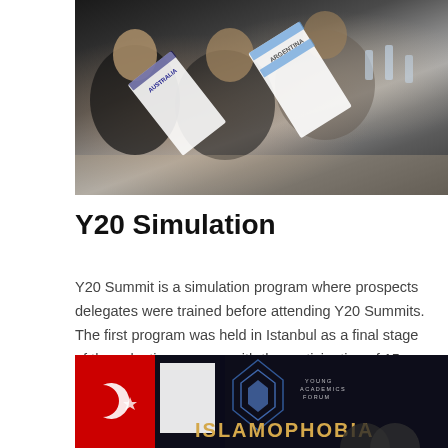[Figure (photo): Conference room scene with youth delegates holding country name plates including AUSTRALIA and ARGENTINA, seated at tables in a meeting setting]
Y20 Simulation
Y20 Summit is a simulation program where prospects delegates were trained before attending Y20 Summits. The first program was held in Istanbul as a final stage of the selection process with the participation of 15 candidates on 29-30 April.
[Figure (photo): Conference event photo showing a stage with ISLAMOPHOBIA text in gold letters, a Turkish flag, geometric logo design, and Young Academics Forum branding]